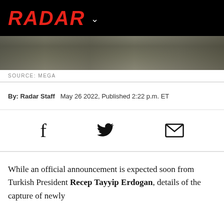[Figure (logo): RADAR logo in red italic bold text on black background with a white chevron/dropdown arrow]
[Figure (photo): Outdoor landscape photo strip showing rocky/sandy ground with sparse vegetation, muted earth tones]
SOURCE: MEGA
By: Radar Staff   May 26 2022, Published 2:22 p.m. ET
[Figure (infographic): Social sharing icons row: Facebook f icon, Twitter bird icon, and email envelope icon]
While an official announcement is expected soon from Turkish President Recep Tayyip Erdogan, details of the capture of newly